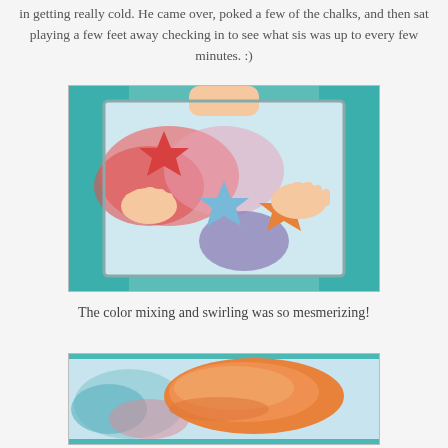in getting really cold. He came over, poked a few of the chalks, and then sat playing a few feet away checking in to see what sis was up to every few minutes. :)
[Figure (photo): Child's hands pressing star-shaped chalk pieces in a tray filled with swirling colored water – red, blue, orange, pink, purple colors visible on a teal background]
The color mixing and swirling was so mesmerizing!
[Figure (photo): Close-up of orange chalk dissolving in swirling colorful water in a tray, with teal and pink colors visible]